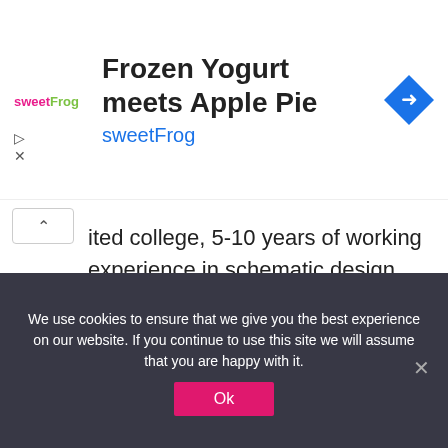[Figure (infographic): sweetFrog advertisement banner with logo, title 'Frozen Yogurt meets Apple Pie', subtitle 'sweetFrog', and a blue navigation diamond icon]
ited college, 5-10 years of working experience in schematic design through construction document phases, consultant coordination, product research, custom millwork and proficiency in AutoCAD. The candidate should be able to move fluently between projects of various sizes.
The position offers an opportunity to be involved in projects from conception through construction. Projects include full renovation of residences and collaboration with high-end
We use cookies to ensure that we give you the best experience on our website. If you continue to use this site we will assume that you are happy with it.